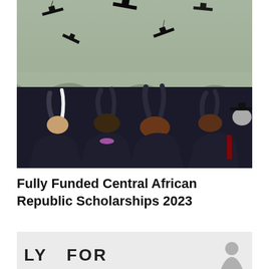[Figure (photo): Graduates in black robes throwing their mortarboard caps into the air at a graduation ceremony, viewed mostly from behind, with a white tent backdrop.]
Fully Funded Central African Republic Scholarships 2023
[Figure (photo): Partial view of a second image showing text 'LY FOR' (part of 'APPLY FOR') and a partial person icon/figure on the right side, on a light gray background.]